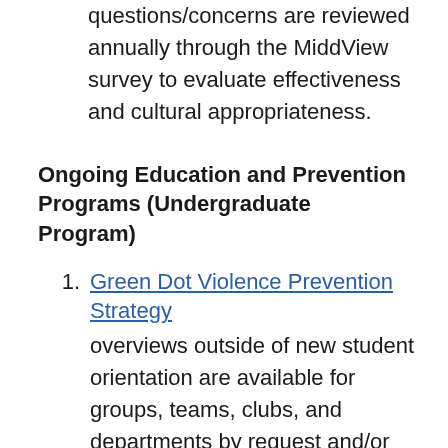questions/concerns are reviewed annually through the MiddView survey to evaluate effectiveness and cultural appropriateness.
Ongoing Education and Prevention Programs (Undergraduate Program)
Green Dot Violence Prevention Strategy overviews outside of new student orientation are available for groups, teams, clubs, and departments by request and/or invitation. Open sessions are scheduled throughout the year as